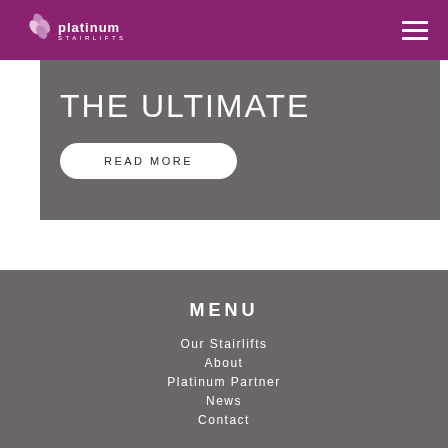Platinum Stairlifts logo and navigation header
THE ULTIMATE
READ MORE
MENU
Our Stairlifts
About
Platinum Partner
News
Contact